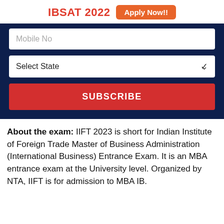IBSAT 2022  Apply Now!!
[Figure (screenshot): Web form with Mobile No input field, Select State dropdown, and SUBSCRIBE button on a dark navy background]
About the exam: IIFT 2023 is short for Indian Institute of Foreign Trade Master of Business Administration (International Business) Entrance Exam. It is an MBA entrance exam at the University level. Organized by NTA, IIFT is for admission to MBA IB.